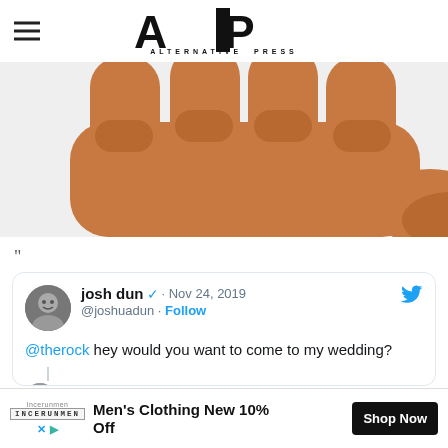Alternative Press
[Figure (illustration): Large brown fist bump emoji cropped at top, shown against light gray background]
"
[Figure (screenshot): Tweet card: josh dun @joshuadun · Nov 24, 2019 · Follow · @therock hey would you want to come to my wedding? · reply from Dwayne Johnson (partially visible)]
[Figure (infographic): Advertisement bar: Incerunmen - Men's Clothing New 10% Off - Shop Now]